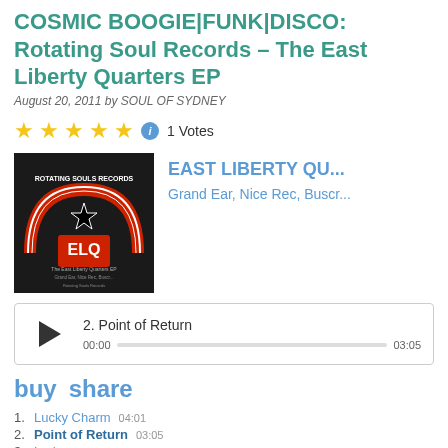COSMIC BOOGIE|FUNK|DISCO: Rotating Soul Records – The East Liberty Quarters EP
August 20, 2011 by SOUL OF SYDNEY
★★★★★ ℹ 1 Votes
[Figure (photo): Album cover art for Rotating Souls Records / East Liberty Quarters EP, showing a red and black record label design with a star and 'ELQ' logo]
EAST LIBERTY QU...
Grand Ear, Nice Rec, Buscr...
2. Point of Return  00:00 ——————————————————— 03:05
buy   share
1. Lucky Charm  04:01
2. Point of Return  03:05
3. Lady  04:16
4. Tron'd Out  04:15
5. Crystals  04:07